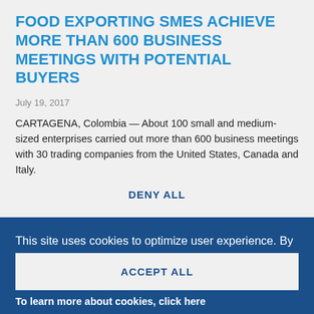FOOD EXPORTING SMES ACHIEVE MORE THAN 600 BUSINESS MEETINGS WITH POTENTIAL BUYERS
July 19, 2017
CARTAGENA, Colombia — About 100 small and medium-sized enterprises carried out more than 600 business meetings with 30 trading companies from the United States, Canada and Italy.
This site uses cookies to optimize user experience. By accepting our cookie policy, the IDB can track user behavior to improve its services.
To learn more about cookies, click here
Configure individually
DENY ALL
ACCEPT ALL